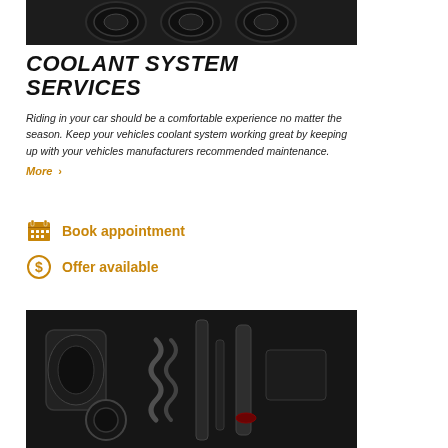[Figure (photo): Close-up photo of car dashboard gauges in black and white]
COOLANT SYSTEM SERVICES
Riding in your car should be a comfortable experience no matter the season. Keep your vehicles coolant system working great by keeping up with your vehicles manufacturers recommended maintenance.
More >
Book appointment
Offer available
[Figure (photo): Close-up photo of car engine and suspension components in black and white]